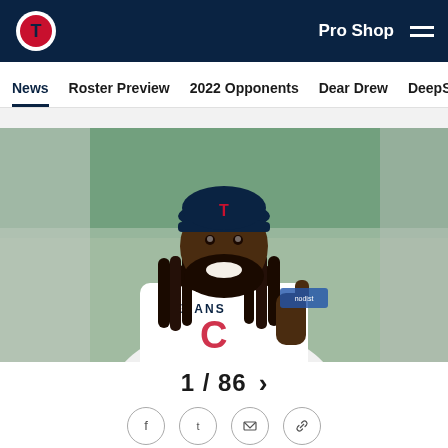Houston Texans website header with logo, Pro Shop link, and hamburger menu
News | Roster Preview | 2022 Opponents | Dear Drew | DeepSlant
[Figure (photo): A Houston Texans player wearing a navy Texans cap and white jersey smiling and giving a thumbs up, with a blurred green/blue background]
1 / 86 >
Social share icons: Facebook, Twitter, Email, Link